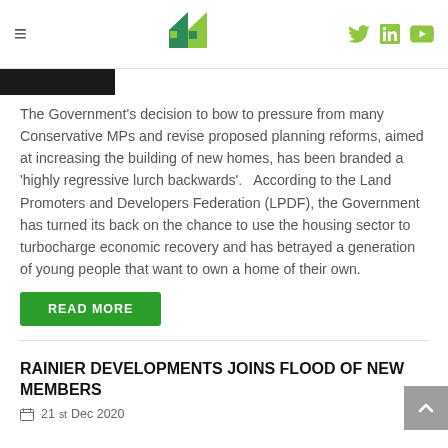Navigation bar with hamburger menu, house logo, and social icons (Twitter, LinkedIn, YouTube)
[Figure (photo): Partial cropped photo strip at top left, dark/black toned image]
The Government's decision to bow to pressure from many Conservative MPs and revise proposed planning reforms, aimed at increasing the building of new homes, has been branded a 'highly regressive lurch backwards'.   According to the Land Promoters and Developers Federation (LPDF), the Government has turned its back on the chance to use the housing sector to turbocharge economic recovery and has betrayed a generation of young people that want to own a home of their own.
READ MORE
RAINIER DEVELOPMENTS JOINS FLOOD OF NEW MEMBERS
21st Dec 2020